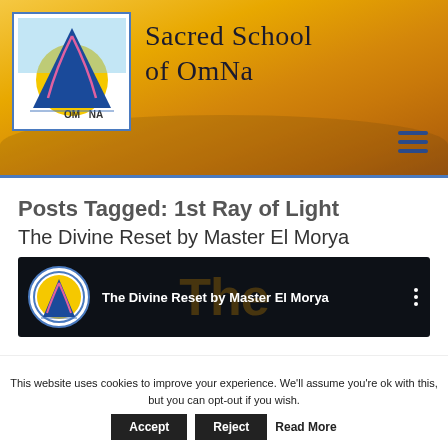[Figure (logo): Sacred School of OmNa header banner with logo showing a blue triangle, sun/moon, and OmNa text, golden sky background, and site title 'Sacred School of OmNa']
Posts Tagged: 1st Ray of Light
The Divine Reset by Master El Morya
[Figure (screenshot): Video thumbnail with dark background showing 'The Divine Reset by Master El Morya' with OmNa logo circle icon on left and three-dot menu on right]
This website uses cookies to improve your experience. We'll assume you're ok with this, but you can opt-out if you wish.
Accept   Reject   Read More